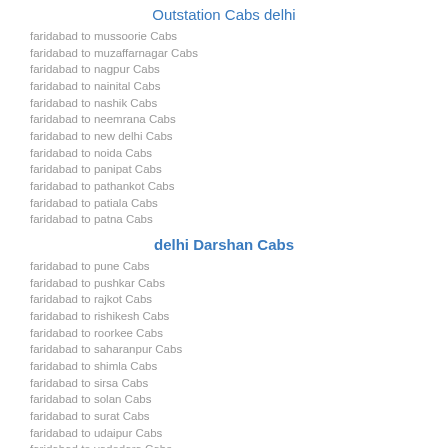Outstation Cabs delhi
faridabad to mussoorie Cabs
faridabad to muzaffarnagar Cabs
faridabad to nagpur Cabs
faridabad to nainital Cabs
faridabad to nashik Cabs
faridabad to neemrana Cabs
faridabad to new delhi Cabs
faridabad to noida Cabs
faridabad to panipat Cabs
faridabad to pathankot Cabs
faridabad to patiala Cabs
faridabad to patna Cabs
delhi Darshan Cabs
faridabad to pune Cabs
faridabad to pushkar Cabs
faridabad to rajkot Cabs
faridabad to rishikesh Cabs
faridabad to roorkee Cabs
faridabad to saharanpur Cabs
faridabad to shimla Cabs
faridabad to sirsa Cabs
faridabad to solan Cabs
faridabad to surat Cabs
faridabad to udaipur Cabs
faridabad to vadodara Cabs
Book cabs
faridabad to vrindavan Cabs
gurgaon to gwalior Cabs
gurgaon to haldwani Cabs